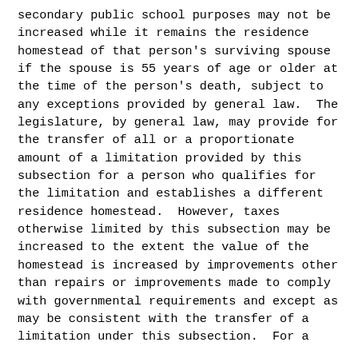secondary public school purposes may not be increased while it remains the residence homestead of that person's surviving spouse if the spouse is 55 years of age or older at the time of the person's death, subject to any exceptions provided by general law.  The legislature, by general law, may provide for the transfer of all or a proportionate amount of a limitation provided by this subsection for a person who qualifies for the limitation and establishes a different residence homestead.  However, taxes otherwise limited by this subsection may be increased to the extent the value of the homestead is increased by improvements other than repairs or improvements made to comply with governmental requirements and except as may be consistent with the transfer of a limitation under this subsection.  For a